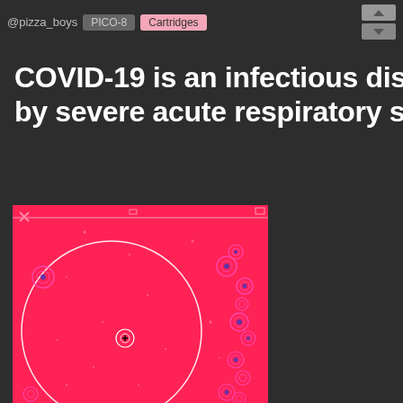@pizza_boys  PICO-8  Cartridges
COVID-19 is an infectious disease caused by severe acute respiratory syndrome!
[Figure (screenshot): A red pixel-art game screenshot showing a circular radar or play field with a large white circle outline, scattered dots, and multiple small circular enemy/entity icons with concentric rings around them, on a bright red background. A small crosshair icon is visible near the center-left area.]